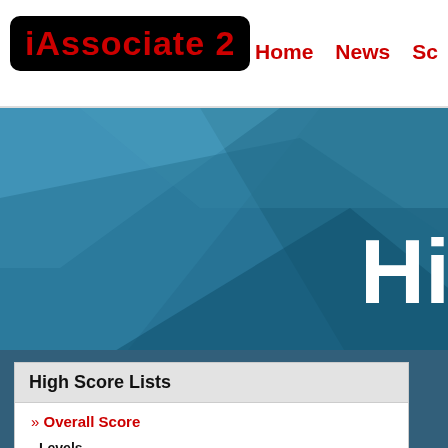iAssociate 2 | Home | News | Sc
[Figure (screenshot): iAssociate 2 logo with red text on black rounded rectangle background, navigation links Home, News, Sc in red]
[Figure (illustration): Blue geometric hero banner with large white text reading 'High']
High Score Lists
» Overall Score
Levels
» Tutorial
» Savor the Flavor
» Crazy
» Forces of Nature
» Ants in the Pants
» X Marks the Spot
Randa
Total Score:
Level
Tutorial
Savor the Flav
Crazy